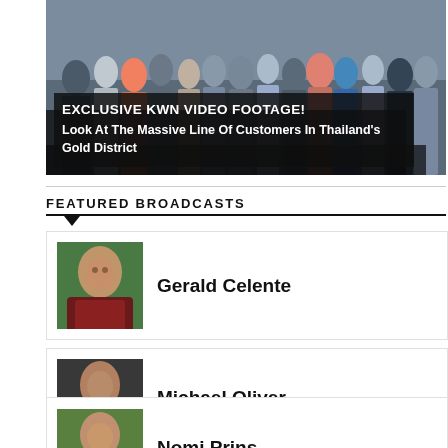[Figure (photo): Hero image showing a crowd of people queuing in Thailand's Gold District, with a dark overlay caption box]
EXCLUSIVE KWN VIDEO FOOTAGE! Look At The Massive Line Of Customers In Thailand's Gold District
FEATURED BROADCASTS
[Figure (photo): Headshot of Gerald Celente, a man in a dark red shirt against a green background]
Gerald Celente
[Figure (photo): Headshot of Michael Oliver, an elderly man in dark suit against dark background]
Michael Oliver
[Figure (photo): Headshot of Nomi Prins, a woman against a green background]
Nomi Prins